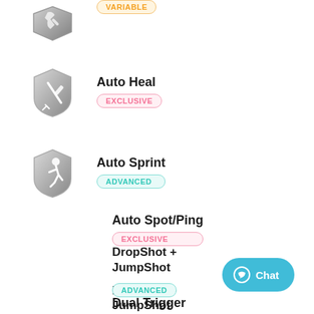[Figure (illustration): Shield icon with variable badge (partial, top of page)]
Auto Heal — EXCLUSIVE
Auto Sprint — ADVANCED
Auto Spot/Ping — EXCLUSIVE
DropShot + JumpShot — ADVANCED
Dual Trigger — VARIABLE